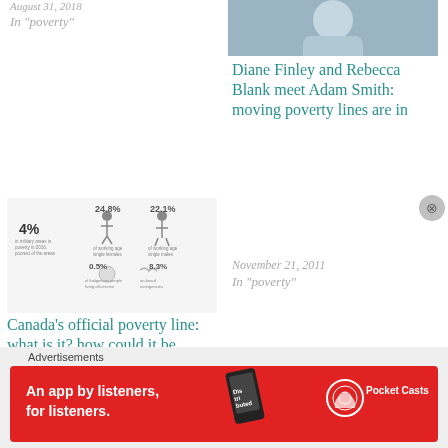August 31, 2018
In "poverty"
[Figure (photo): Photo of person (cropped, blue/grey clothing)]
Diane Finley and Rebecca Blank meet Adam Smith: moving poverty lines are in
November 21, 2011
In "poverty"
[Figure (infographic): Infographic showing Canadian poverty statistics: 4% in military areas in poverty in 2016, 24.8% of working age single females, 22.1% of working age single males, 0.5% of Indigenous people living off-reserve, 8.3% on-reserve emergency]
Canada’s official poverty line: what is it? how could it be better?
August 21, 2018
Advertisements
[Figure (infographic): Pocket Casts advertisement banner: An app by listeners, for listeners. Red background with phone graphic.]